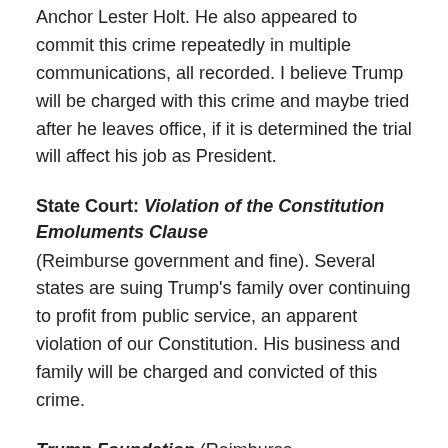Anchor Lester Holt.  He also appeared to commit this crime repeatedly in multiple communications, all recorded.  I believe Trump will be charged with this crime and maybe tried after he leaves office, if it is determined the trial will affect his job as President.
State Court:  Violation of the Constitution Emoluments Clause
(Reimburse government and fine).  Several states are suing Trump's family over continuing to profit from public service, an apparent violation of our Constitution.  His business and family will be charged and convicted of this crime.
Trump Foundation (Reimburse